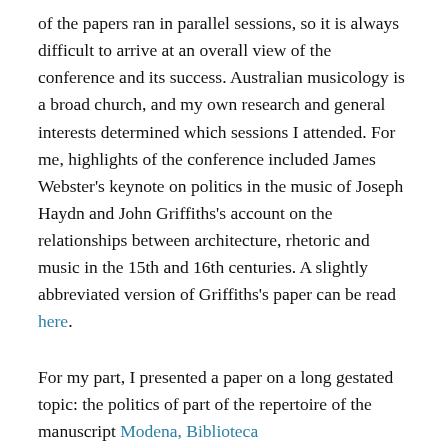of the papers ran in parallel sessions, so it is always difficult to arrive at an overall view of the conference and its success. Australian musicology is a broad church, and my own research and general interests determined which sessions I attended. For me, highlights of the conference included James Webster's keynote on politics in the music of Joseph Haydn and John Griffiths's account on the relationships between architecture, rhetoric and music in the 15th and 16th centuries. A slightly abbreviated version of Griffiths's paper can be read here.
For my part, I presented a paper on a long gestated topic: the politics of part of the repertoire of the manuscript Modena, Biblioteca